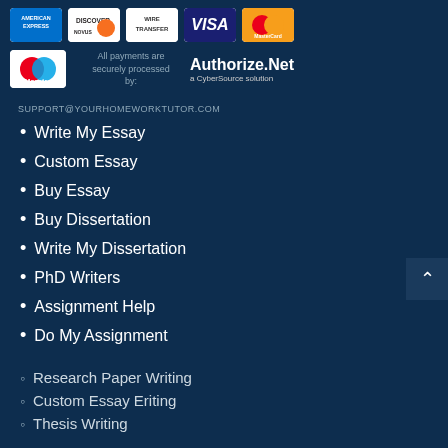[Figure (logo): Payment method logos: American Express, Discover, Wire Transfer, Visa, MasterCard]
[Figure (logo): Maestro card logo, 'All payments are securely processed by:' text, Authorize.Net a CyberSource solution logo]
SUPPORT@YOURHOMEWORKTUTOR.COM
Write My Essay
Custom Essay
Buy Essay
Buy Dissertation
Write My Dissertation
PhD Writers
Assignment Help
Do My Assignment
Research Paper Writing
Custom Essay Eriting
Thesis Writing